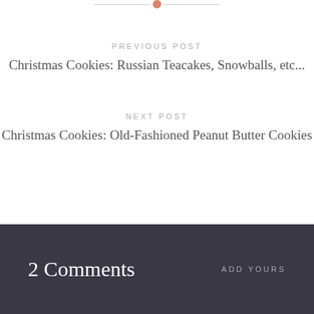[Figure (other): Decorative horizontal divider with a salmon/coral colored circle in the center and thin gray lines on either side]
PREVIOUS POST
Christmas Cookies: Russian Teacakes, Snowballs, etc...
NEXT POST
Christmas Cookies: Old-Fashioned Peanut Butter Cookies
2 Comments
ADD YOURS